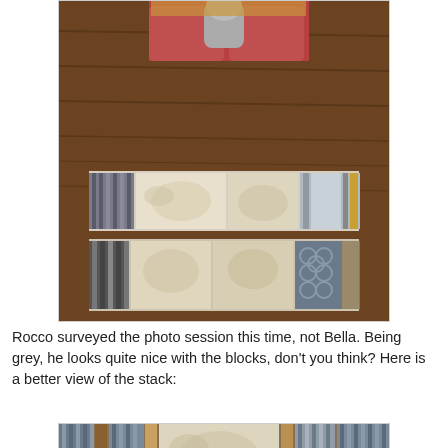[Figure (photo): Top-down photo of a dog (grey, likely Rocco) sitting on a dark wood floor near a bed with red/orange pillows, supervising fabric quilt blocks arranged in two rows on the floor. The blocks are a mix of neutral cream, grey, blue, tan striped fabrics with a watermark reading 'mmm quilts'.]
Rocco surveyed the photo session this time, not Bella. Being grey, he looks quite nice with the blocks, don't you think?  Here is a better view of the stack:
[Figure (photo): Close-up photo of a stack of quilt fabric blocks arranged horizontally, showing various neutral/grey/tan/blue striped and solid fabrics with cream center panels. The blocks are laid out in a row on a wooden floor.]